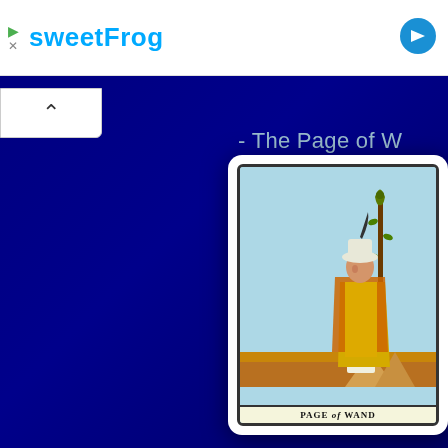[Figure (screenshot): Advertisement banner for sweetFrog frozen yogurt with colorful logo, play icon, X close button, blue arrow button on right]
sweetFrog
[Figure (illustration): Tarot card illustration: Page of Wands — a figure in medieval garb holding a tall wand/staff, standing in a desert landscape with pyramids. Card is framed with white rounded border on dark navy background. Partially cropped on left side with title '- The Page of W' visible.]
PAGE of WAND